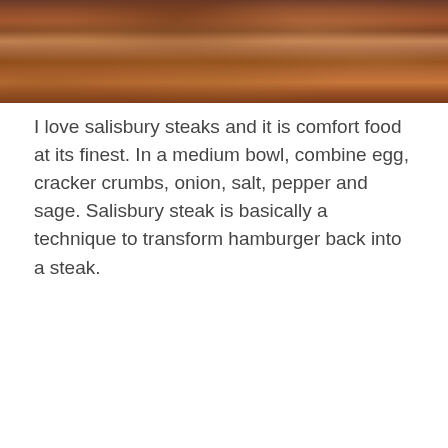[Figure (photo): Close-up photo of salisbury steak with brown gravy sauce, showing textured meat with glossy gravy coating]
I love salisbury steaks and it is comfort food at its finest. In a medium bowl, combine egg, cracker crumbs, onion, salt, pepper and sage. Salisbury steak is basically a technique to transform hamburger back into a steak.